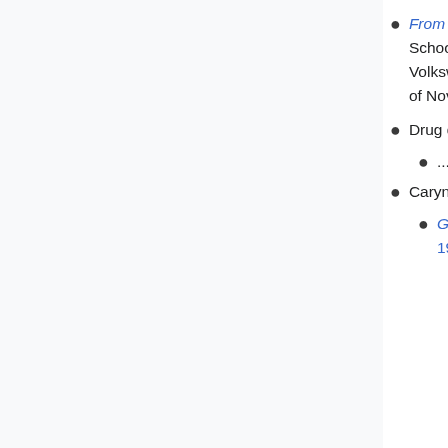From p.188 of The Stranger Beside Me: "A man who had arrived at Viewmont High School to pick up his daughter after the play reported that he had seen an old, beat-up Volkswagen—a light-colored Bug—racing from the parking lot just after 10:30 on the night of November 8."
Drug dealer suspect - pseudonym John Badway
...
Caryn Campbell - 1975/01/12 in Aspen CO
Grand Junction Daily Sentinel, "Bundy questioned by Pitkin County investigators", 1976/03/23: "A Salt Lake County sheriffs office said